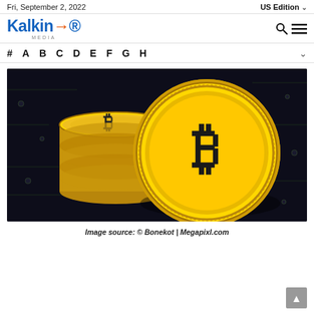Fri, September 2, 2022   US Edition
[Figure (logo): Kalkine Media logo in blue with orange arrow element]
# A B C D E F G H
[Figure (photo): Gold Bitcoin coins on a dark circuit board background]
Image source: © Bonekot | Megapixl.com